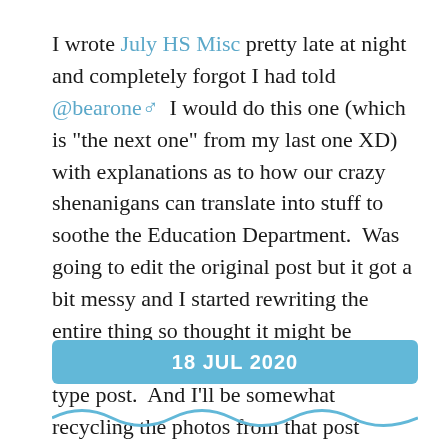I wrote July HS Misc pretty late at night and completely forgot I had told @bearone♂  I would do this one (which is "the next one" from my last one XD) with explanations as to how our crazy shenanigans can translate into stuff to soothe the Education Department.  Was going to edit the original post but it got a bit messy and I started rewriting the entire thing so thought it might be somewhat safer to do a "companion" type post.  And I'll be somewhat recycling the photos from that post (though I think I'll just screenie the sets to make my life easier), so watch out for the fake wounds again.
18 JUL 2020